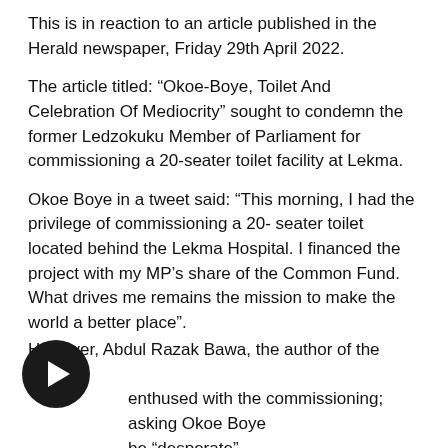This is in reaction to an article published in the Herald newspaper, Friday 29th April 2022.
The article titled: “Okoe-Boye, Toilet And Celebration Of Mediocrity” sought to condemn the former Ledzokuku Member of Parliament for commissioning a 20-seater toilet facility at Lekma.
Okoe Boye in a tweet said: “This morning, I had the privilege of commissioning a 20- seater toilet located behind the Lekma Hospital. I financed the project with my MP’s share of the Common Fund. What drives me remains the mission to make the world a better place”.
However, Abdul Razak Bawa, the author of the article enthused with the commissioning; asking Okoe Boye be “desperate”.